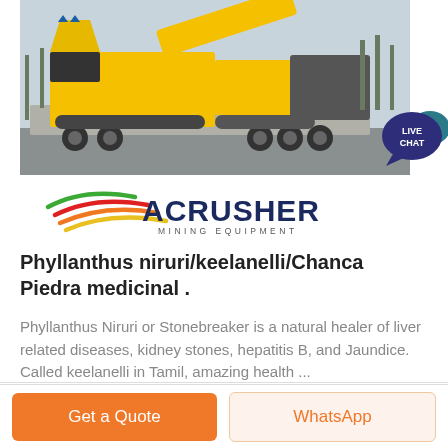[Figure (photo): Yellow heavy mining crusher machine on a flatbed truck, outdoors with bare trees in background. Photo surrounded by white/light grey border.]
[Figure (logo): ACRUSHER Mining Equipment logo with a stylized swoosh in green, red, orange, yellow/gold colors above the text ACRUSHER in bold dark navy letters, and MINING EQUIPMENT in smaller spaced letters below.]
[Figure (illustration): Live Chat speech bubble icon: dark navy large bubble with smaller teal bubble, with text LIVE CHAT in white.]
Phyllanthus niruri/keelanelli/Chanca Piedra medicinal .
Phyllanthus Niruri or Stonebreaker is a natural healer of liver related diseases, kidney stones, hepatitis B, and Jaundice. Called keelanelli in Tamil, amazing health ...
Get a Quote
WhatsApp